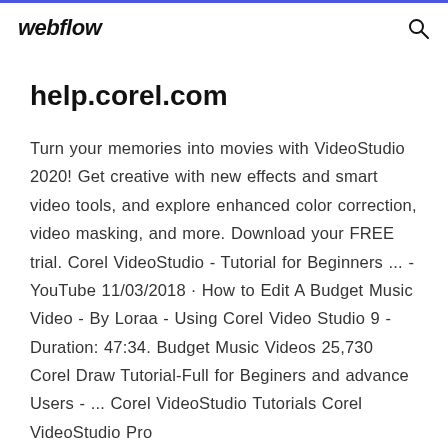webflow
help.corel.com
Turn your memories into movies with VideoStudio 2020! Get creative with new effects and smart video tools, and explore enhanced color correction, video masking, and more. Download your FREE trial. Corel VideoStudio - Tutorial for Beginners ... - YouTube 11/03/2018 · How to Edit A Budget Music Video - By Loraa - Using Corel Video Studio 9 - Duration: 47:34. Budget Music Videos 25,730 Corel Draw Tutorial-Full for Beginers and advance Users - ... Corel VideoStudio Tutorials Corel VideoStudio Pro